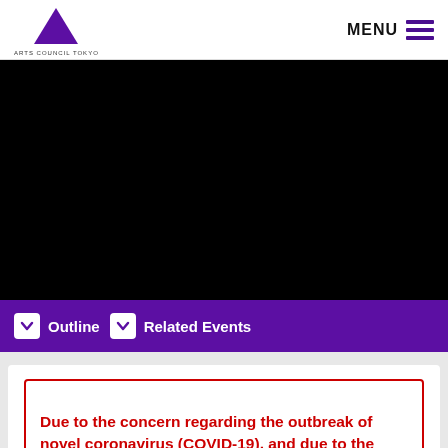ARTS COUNCIL TOKYO | MENU
[Figure (photo): Black image area representing a video or photo placeholder for an Arts Council Tokyo event]
Outline | Related Events
Due to the concern regarding the outbreak of novel coronavirus (COVID-19), and due to the safety and